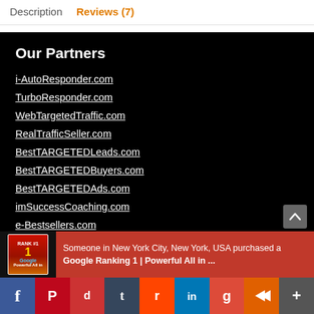Description   Reviews (7)
Our Partners
i-AutoResponder.com
TurboResponder.com
WebTargetedTraffic.com
RealTrafficSeller.com
BestTARGETEDLeads.com
BestTARGETEDBuyers.com
BestTARGETEDAds.com
imSuccessCoaching.com
e-Bestsellers.com
Someone in New York City, New York, USA purchased a Google Ranking 1 | Powerful All in ...